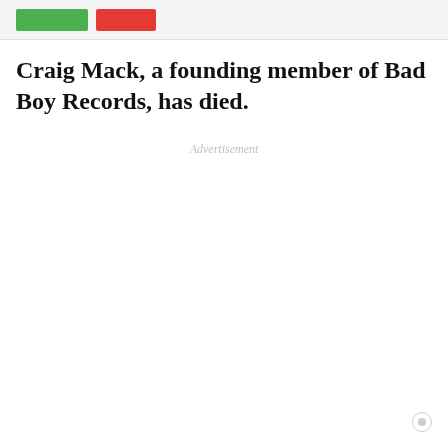[Figure (other): Top navigation/header bar with a green button and a red/salmon button on a light gray background]
Craig Mack, a founding member of Bad Boy Records, has died.
Advertisement